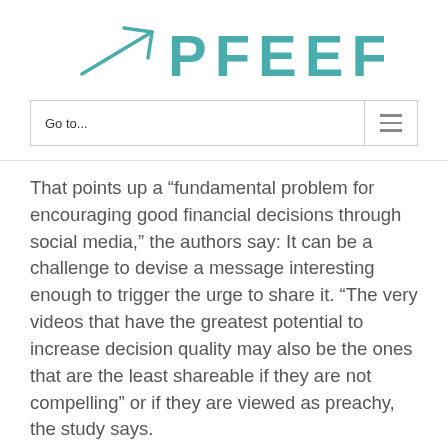[Figure (logo): PFEEF logo with upward trending arrow icon in teal and teal text 'PFEEF']
Go to...
That points up a “fundamental problem for encouraging good financial decisions through social media,” the authors say: It can be a challenge to devise a message interesting enough to trigger the urge to share it. “The very videos that have the greatest potential to increase decision quality may also be the ones that are the least shareable if they are not compelling” or if they are viewed as preachy, the study says.